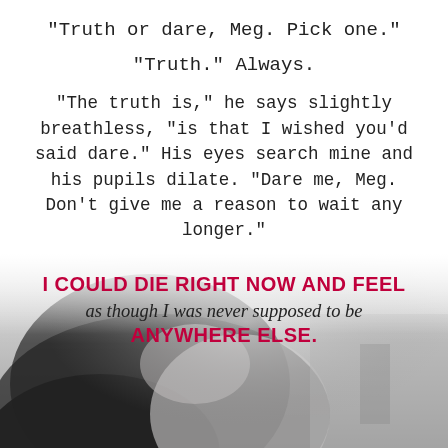“Truth or dare, Meg. Pick one.”
“Truth.” Always.
“The truth is,” he says slightly breathless, “is that I wished you’d said dare.” His eyes search mine and his pupils dilate. “Dare me, Meg. Don’t give me a reason to wait any longer.”
[Figure (photo): Black and white photo of a young woman with dark hair, hand raised to her head, rings on fingers, soft blurred background]
I COULD DIE RIGHT NOW AND FEEL as though I was never supposed to be ANYWHERE ELSE.